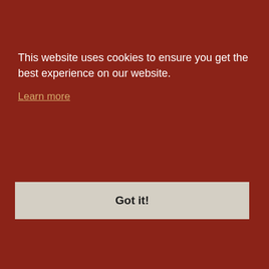This website uses cookies to ensure you get the best experience on our website.
Learn more
Got it!
ARTISTS
@brightmyt @neko paille accessories (accessorie
SPREADSH
@Demetre tracker) @D
ATTENDAN
@SpringsS @brightmyt @Zenkai @ @sublimeve
FLIGHT BA
By osiem!